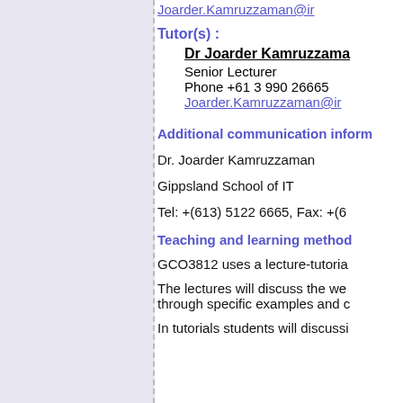Joarder.Kamruzzaman@ir
Tutor(s) :
Dr Joarder Kamruzzama
Senior Lecturer
Phone +61 3 990 26665
Joarder.Kamruzzaman@ir
Additional communication inform
Dr. Joarder Kamruzzaman
Gippsland School of IT
Tel: +(613) 5122 6665, Fax: +(6
Teaching and learning method
GCO3812 uses a lecture-tutoria
The lectures will discuss the we through specific examples and c
In tutorials students will discussi